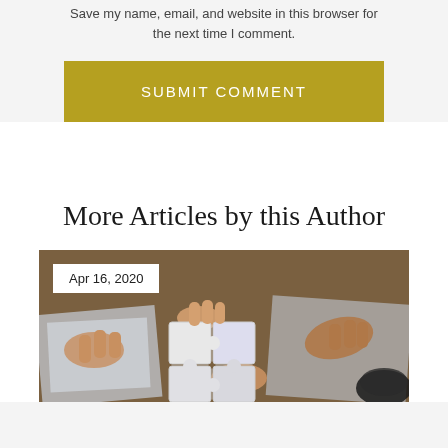Save my name, email, and website in this browser for the next time I comment.
SUBMIT COMMENT
More Articles by this Author
[Figure (photo): Photo of multiple hands holding and connecting white puzzle pieces together over a table with papers and a coffee cup. Date badge reads Apr 16, 2020.]
Apr 16, 2020